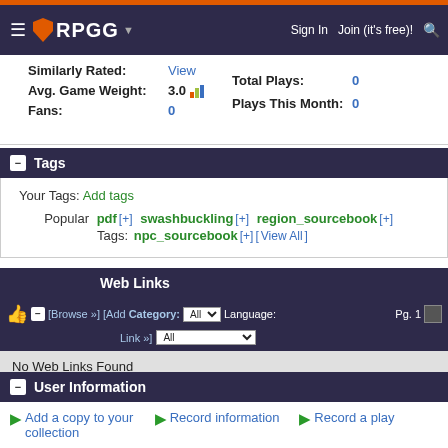RPGG | Sign In | Join (it's free)!
Similarly Rated: View
Avg. Game Weight: 3.0
Fans: 0
Total Plays: 0
Plays This Month: 0
Tags
Your Tags: Add tags
Popular Tags: pdf [+] swashbuckling [+] region_sourcebook [+] npc_sourcebook [+] [View All]
Web Links
[Browse »] [Add Link »] Category: All Language: All Pg. 1
No Web Links Found
User Information
Add a copy to your collection | Record information | Record a play
Use this tool to rate games, save comments, and manage your collection.